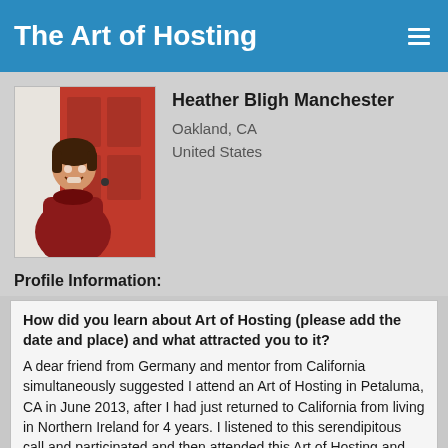The Art of Hosting
[Figure (photo): Profile photo of Heather Bligh Manchester, a woman in a red coat laughing in front of a red door]
Heather Bligh Manchester
Oakland, CA
United States
Profile Information:
How did you learn about Art of Hosting (please add the date and place) and what attracted you to it?
A dear friend from Germany and mentor from California simultaneously suggested I attend an Art of Hosting in Petaluma, CA in June 2013, after I had just returned to California from living in Northern Ireland for 4 years. I listened to this serendipitous call and participated and then attended this Art of Hosting and one in July 2013 in Medellin, Colombia.
Tell us about your experience with Art of Hosting as